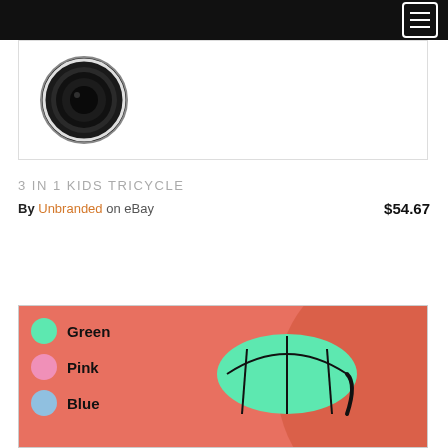Navigation menu
[Figure (photo): Product image showing a dark circular object (speaker or device) on white background inside a bordered card]
3 IN 1 KIDS TRICYCLE
By Unbranded on eBay $54.67
[Figure (photo): Product listing image on coral/salmon background showing color options: Green (mint circle), Pink (pink circle), Blue (light blue circle), with a green kids tricycle partially visible]